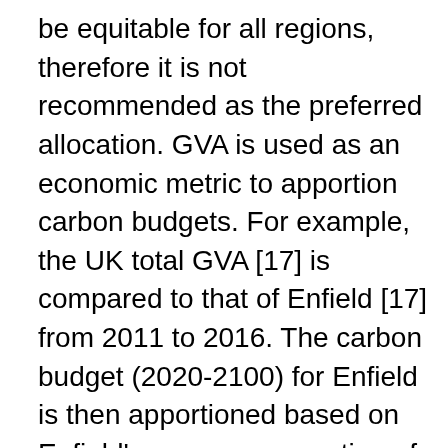be equitable for all regions, therefore it is not recommended as the preferred allocation. GVA is used as an economic metric to apportion carbon budgets. For example, the UK total GVA [17] is compared to that of Enfield [17] from 2011 to 2016. The carbon budget (2020-2100) for Enfield is then apportioned based on Enfield's average proportion of UK GVA for the period 2011-2016. GVA can be useful as a proxy for allocation on economic value, however without an adjustment for the type of economic activity undertaken, areas with high economic 'value' relative to energy use